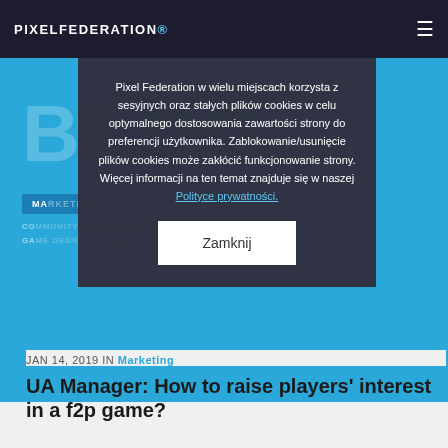PIXELFEDERATION
[Figure (screenshot): Blue banner header area with BLOG title text and navigation category tags including MARKETING, COMMUNITY MANAGEMENT, QA, ASSURANCE, UX, ART, GAME DESIGN, SOCIAL, COMMUNICATION, PEOPLE TEAM]
Pixel Federation w wielu miejscach korzysta z sesyjnych oraz stałych plików cookies w celu optymalnego dostosowania zawartości strony do preferencji użytkownika. Zablokowanie/usunięcie plików cookies może zakłócić funkcjonowanie strony. Więcej informacji na ten temat znajduje się w naszej Polityce prywatności.
Zamknij
JAN 14, 2019 IN Marketing
UA Manager: How to raise players' interest in a f2p game?